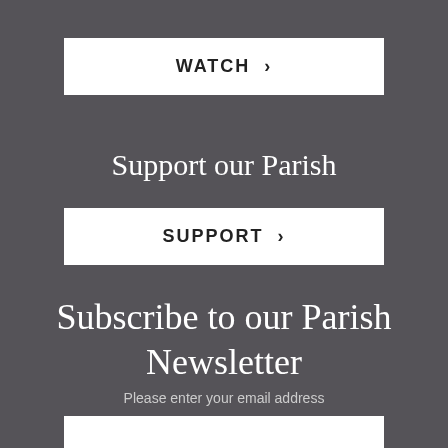[Figure (other): White button with text WATCH ›]
Support our Parish
[Figure (other): White button with text SUPPORT ›]
Subscribe to our Parish Newsletter
Please enter your email address
[Figure (other): White email input box]